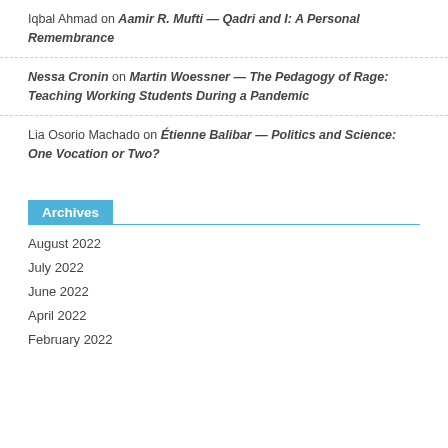Iqbal Ahmad on Aamir R. Mufti — Qadri and I: A Personal Remembrance
Nessa Cronin on Martin Woessner — The Pedagogy of Rage: Teaching Working Students During a Pandemic
Lia Osorio Machado on Étienne Balibar — Politics and Science: One Vocation or Two?
Archives
August 2022
July 2022
June 2022
April 2022
February 2022